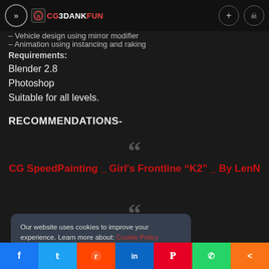>> CG3DANKFUN
– Vehicle design using mirror modifier
– Animation using instancing and raking
Requirements:
Blender 2.8
Photoshop
Suitable for all levels.
RECOMMENDATIONS-
CG SpeedPainting _ Girl's Frontline "K2" _ By LenN
behind the
Our website uses cookies to improve your experience. Learn more about: Cookie Policy
Accept